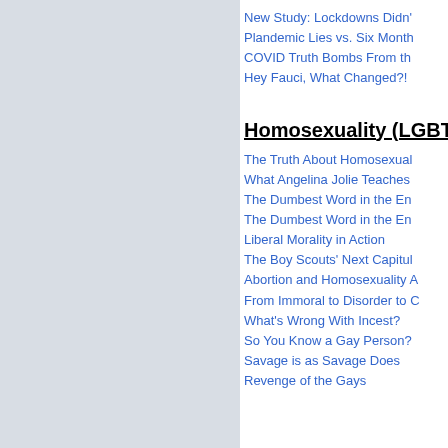[Figure (photo): Light blue-grey textured background filling the left panel of the page]
New Study: Lockdowns Didn't...
Plandemic Lies vs. Six Month...
COVID Truth Bombs From th...
Hey Fauci, What Changed?!
Homosexuality (LGBT...
The Truth About Homosexual...
What Angelina Jolie Teaches...
The Dumbest Word in the En...
The Dumbest Word in the En...
Liberal Morality in Action
The Boy Scouts' Next Capitul...
Abortion and Homosexuality A...
From Immoral to Disorder to C...
What's Wrong With Incest?
So You Know a Gay Person?
Savage is as Savage Does
Revenge of the Gays